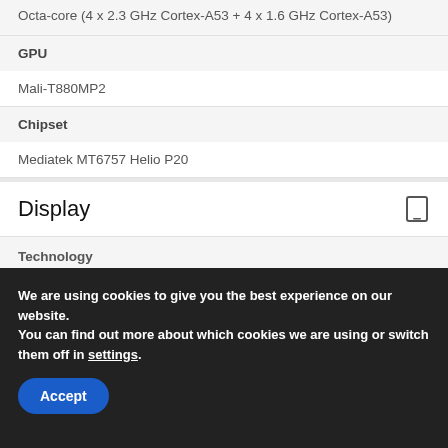Octa-core (4 x 2.3 GHz Cortex-A53 + 4 x 1.6 GHz Cortex-A53)
| Category | Value |
| --- | --- |
| GPU | Mali-T880MP2 |
| Chipset | Mediatek MT6757 Helio P20 |
Display
Technology
We are using cookies to give you the best experience on our website.
You can find out more about which cookies we are using or switch them off in settings.
Accept